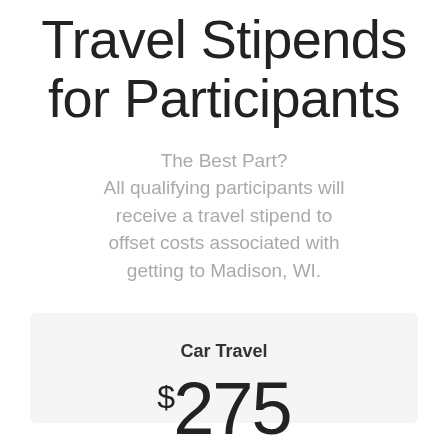Travel Stipends for Participants
The Best Part? All qualifying participants will receive a travel stipend to offset costs associated with getting to Madison, WI.
Car Travel
$275